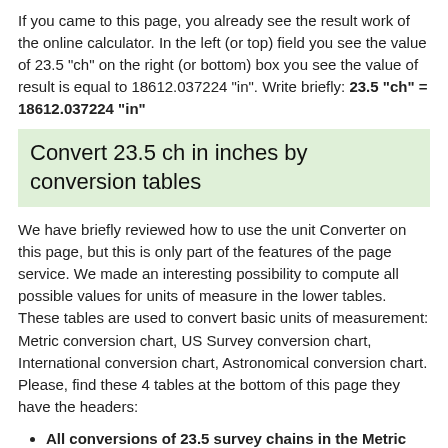If you came to this page, you already see the result work of the online calculator. In the left (or top) field you see the value of 23.5 "ch" on the right (or bottom) box you see the value of result is equal to 18612.037224 "in". Write briefly: 23.5 "ch" = 18612.037224 "in"
Convert 23.5 ch in inches by conversion tables
We have briefly reviewed how to use the unit Converter on this page, but this is only part of the features of the page service. We made an interesting possibility to compute all possible values for units of measure in the lower tables. These tables are used to convert basic units of measurement: Metric conversion chart, US Survey conversion chart, International conversion chart, Astronomical conversion chart. Please, find these 4 tables at the bottom of this page they have the headers:
All conversions of 23.5 survey chains in the Metric System Units
All conversions of 23.5 survey chains in the US Survey Units
All conversions of 23.5 survey chains in the